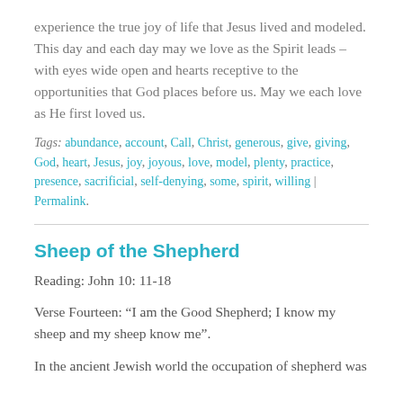experience the true joy of life that Jesus lived and modeled. This day and each day may we love as the Spirit leads – with eyes wide open and hearts receptive to the opportunities that God places before us. May we each love as He first loved us.
Tags: abundance, account, Call, Christ, generous, give, giving, God, heart, Jesus, joy, joyous, love, model, plenty, practice, presence, sacrificial, self-denying, some, spirit, willing | Permalink.
Sheep of the Shepherd
Reading: John 10: 11-18
Verse Fourteen: “I am the Good Shepherd; I know my sheep and my sheep know me”.
In the ancient Jewish world the occupation of shepherd was